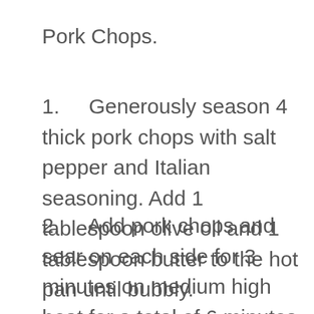Pork Chops.
1.    Generously season 4 thick pork chops with salt pepper and Italian seasoning. Add 1 tablespoon olive oil and 1 tablespoon butter to the hot pan until bubbly.
2.    Add pork chops and sear on each side for 3 minutes on medium high heat for a total of 6 minutes. Make sure to not go over 6 minutes since we will be reheating the pork chops in the sauce later on. Remove